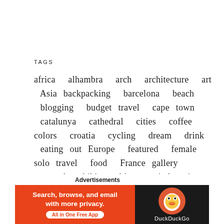TAGS
africa alhambra arch architecture art Asia backpacking barcelona beach blogging budget travel cape town catalunya cathedral cities coffee colors croatia cycling dream drink eating out Europe featured female solo travel food France gallery granada hiking history italy japan japanese japanese food japan travel journey kanazawa lisbon lisbon guide local madrid market meditation money mountains narrow streets nature Nice ocean one day travel opinion Photoblogging photography portugal roman ruins slow travel solo travel south africa spain table mountain tarragona temple tokyo Tokyo area guide Travel travelblog
Advertisements
[Figure (other): DuckDuckGo advertisement banner: orange left section with text 'Search, browse, and email with more privacy. All in One Free App' and dark right section with DuckDuckGo logo]